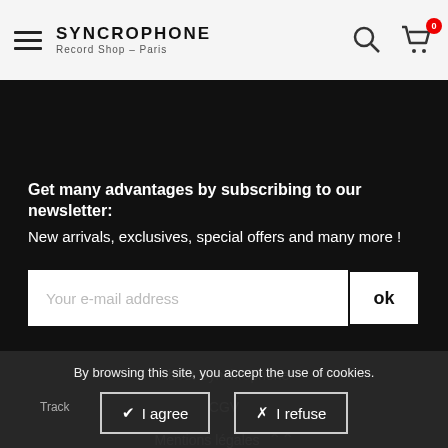SYNCROPHONE Record Shop – Paris
Get many advantages by subscribing to our newsletter:
New arrivals, exclusives, special offers and many more !
Your e-mail address  ok
About Synchrophone
CGV
Mentions légales
By browsing this site, you accept the use of cookies.
Track
✔ I agree   ✗ I refuse